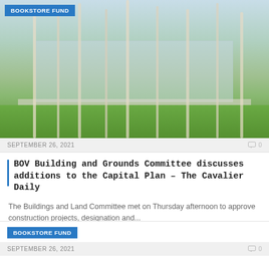[Figure (illustration): Architectural rendering of a campus building with trees, walkway, and people outdoors]
BOOKSTORE FUND
SEPTEMBER 26, 2021   0
BOV Building and Grounds Committee discusses additions to the Capital Plan – The Cavalier Daily
The Buildings and Land Committee met on Thursday afternoon to approve construction projects, designation and...
BOOKSTORE FUND
SEPTEMBER 26, 2021   0